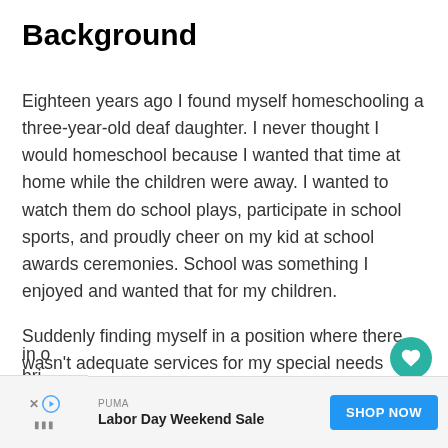Background
Eighteen years ago I found myself homeschooling a three-year-old deaf daughter. I never thought I would homeschool because I wanted that time at home while the children were away. I wanted to watch them do school plays, participate in school sports, and proudly cheer on my kid at school awards ceremonies. School was something I enjoyed and wanted that for my children.
Suddenly finding myself in a position where there wasn't adequate services for my special needs kiddo in o... bri...